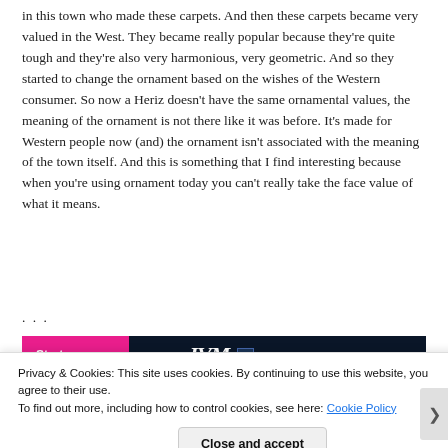in this town who made these carpets. And then these carpets became very valued in the West. They became really popular because they're quite tough and they're also very harmonious, very geometric. And so they started to change the ornament based on the wishes of the Western consumer. So now a Heriz doesn't have the same ornamental values, the meaning of the ornament is not there like it was before. It's made for Western people now (and) the ornament isn't associated with the meaning of the town itself. And this is something that I find interesting because when you're using ornament today you can't really take the face value of what it means.
...
[Figure (screenshot): A dark banner with a pink 'Start a survey' button and a logo on the right side]
Privacy & Cookies: This site uses cookies. By continuing to use this website, you agree to their use. To find out more, including how to control cookies, see here: Cookie Policy
Close and accept